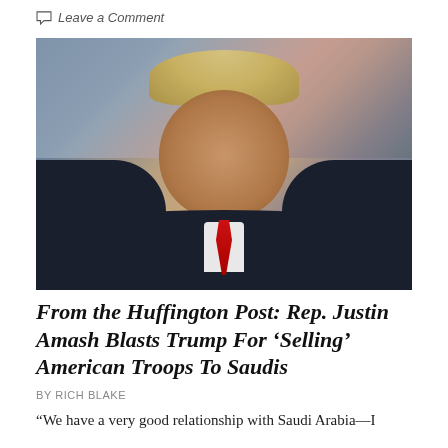Leave a Comment
[Figure (photo): Photograph of a man in a dark navy suit with a red tie, white shirt, with blonde hair, smiling slightly, photographed against a blurred crowd background]
From the Huffington Post: Rep. Justin Amash Blasts Trump For 'Selling' American Troops To Saudis
BY RICH BLAKE
“We have a very good relationship with Saudi Arabia—I